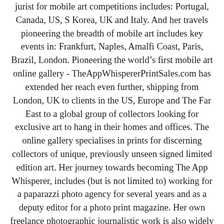jurist for mobile art competitions includes: Portugal, Canada, US, S Korea, UK and Italy. And her travels pioneering the breadth of mobile art includes key events in: Frankfurt, Naples, Amalfi Coast, Paris, Brazil, London. Pioneering the world's first mobile art online gallery - TheAppWhispererPrintSales.com has extended her reach even further, shipping from London, UK to clients in the US, Europe and The Far East to a global group of collectors looking for exclusive art to hang in their homes and offices. The online gallery specialises in prints for discerning collectors of unique, previously unseen signed limited edition art. Her journey towards becoming The App Whisperer, includes (but is not limited to) working for a paparazzi photo agency for several years and as a deputy editor for a photo print magazine. Her own freelance photographic journalistic work is also widely acclaimed. She has been published extensively both within the UK and the US in national and international titles. These include The